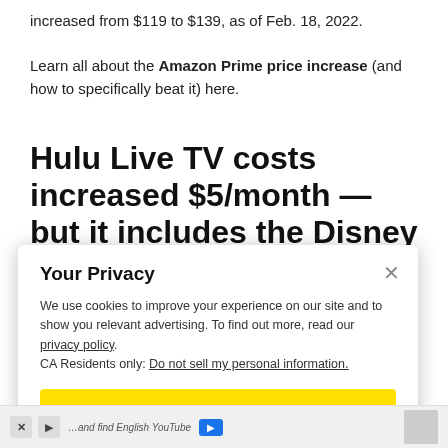increased from $119 to $139, as of Feb. 18, 2022.
Learn all about the Amazon Prime price increase (and how to specifically beat it) here.
Hulu Live TV costs increased $5/month — but it includes the Disney
Your Privacy
We use cookies to improve your experience on our site and to show you relevant advertising. To find out more, read our privacy policy.
CA Residents only: Do not sell my personal information.
Ok